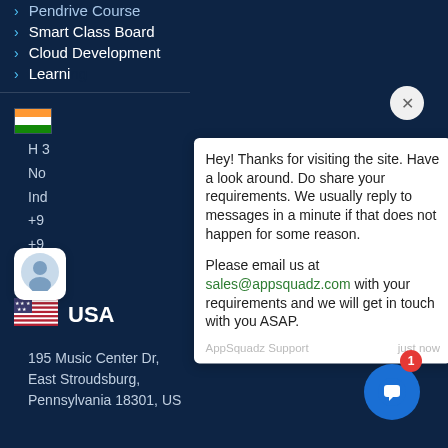Pendrive Course
Smart Class Board
Cloud Development
Learning
Hey! Thanks for visiting the site. Have a look around. Do share your requirements. We usually reply to messages in a minute if that does not happen for some reason.

Please email us at sales@appsquadz.com with your requirements and we will get in touch with you ASAP.
AppSquadz Support
just now
[Figure (illustration): Indian flag icon]
H 3
No
India
+9
+9
al
[Figure (illustration): USA flag icon]
USA
195 Music Center Dr,
East Stroudsburg,
Pennsylvania 18301, US